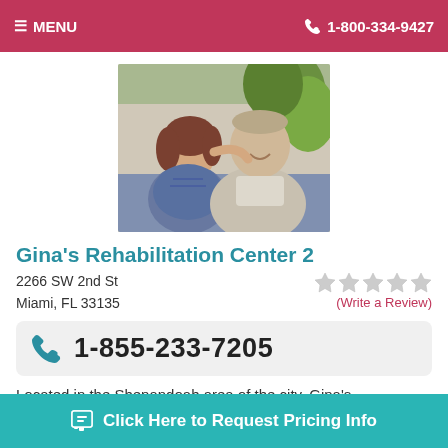≡ MENU   📞 1-800-334-9427
[Figure (photo): Elderly couple smiling at each other, woman with arm around man, indoor setting with plants in background]
Gina's Rehabilitation Center 2
2266 SW 2nd St
Miami, FL 33135
(Write a Review)
📞 1-855-233-7205
Located in the Shenandoah area of the city, Gina's Rehabilitation...
Click Here to Request Pricing Info